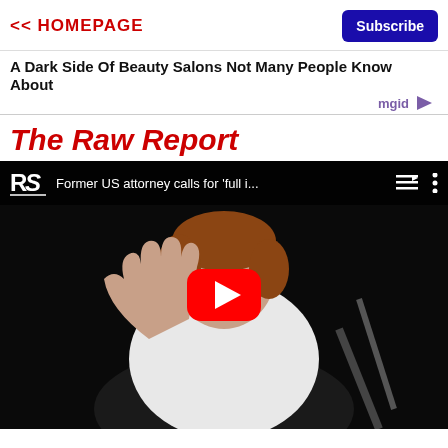<< HOMEPAGE | Subscribe
A Dark Side Of Beauty Salons Not Many People Know About
[Figure (logo): mgid logo with play icon]
The Raw Report
[Figure (screenshot): YouTube video embed showing a woman in white with hand raised, video title: 'Former US attorney calls for full i...' with RS logo, playlist and options icons, and red YouTube play button overlay]